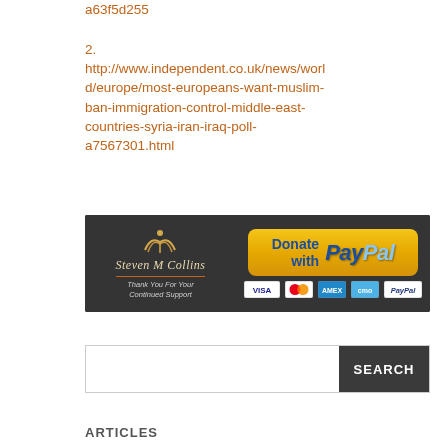a63f5d255
2. http://www.independent.co.uk/news/world/europe/most-europeans-want-muslim-ban-immigration-control-middle-east-countries-syria-iran-iraq-poll-a7567301.html
[Figure (infographic): Steven M Collins donation banner with PayPal button and payment icons (Visa, Mastercard, Amex, Cmo, PayPal) on dark background]
[Figure (screenshot): Search bar with text input field and dark SEARCH button]